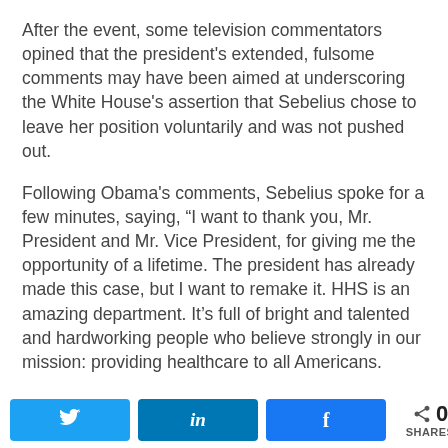After the event, some television commentators opined that the president's extended, fulsome comments may have been aimed at underscoring the White House's assertion that Sebelius chose to leave her position voluntarily and was not pushed out.
Following Obama's comments, Sebelius spoke for a few minutes, saying, “I want to thank you, Mr. President and Mr. Vice President, for giving me the opportunity of a lifetime. The president has already made this case, but I want to remake it. HHS is an amazing department. It’s full of bright and talented and hardworking people who believe strongly in our mission: providing healthcare to all Americans.
[Figure (infographic): Social share bar with Twitter, LinkedIn, Facebook buttons and a share count showing 0 SHARES]